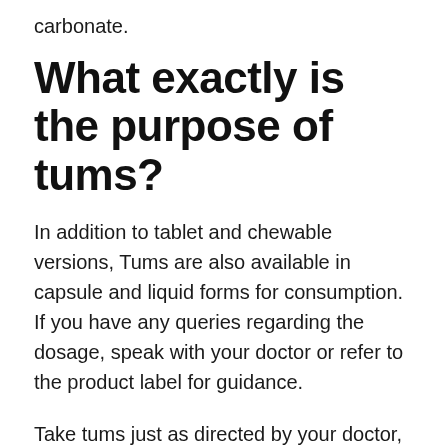carbonate.
What exactly is the purpose of tums?
In addition to tablet and chewable versions, Tums are also available in capsule and liquid forms for consumption. If you have any queries regarding the dosage, speak with your doctor or refer to the product label for guidance.
Take tums just as directed by your doctor, and do not exceed the suggested dosage amount. Take the time to completely chew your chewable pills before ingesting them.